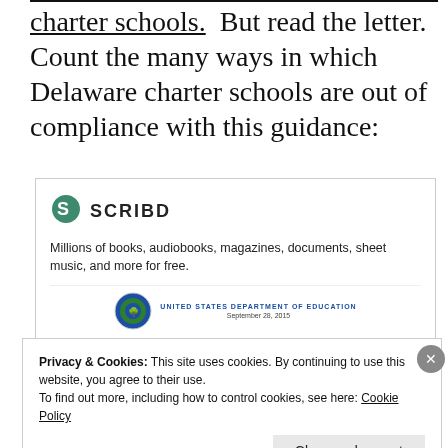charter schools.  But read the letter. Count the many ways in which Delaware charter schools are out of compliance with this guidance:
[Figure (screenshot): Scribd embedded document viewer showing logo, tagline 'Millions of books, audiobooks, magazines, documents, sheet music, and more for free.' and a preview of a United States Department of Education document dated September 28, 2015.]
Privacy & Cookies: This site uses cookies. By continuing to use this website, you agree to their use.
To find out more, including how to control cookies, see here: Cookie Policy